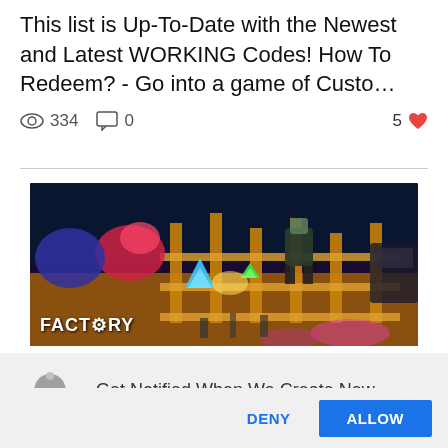This list is Up-To-Date with the Newest and Latest WORKING Codes! How To Redeem? - Go into a game of Custo…
334 views  0 comments  5 likes
[Figure (screenshot): Roblox game screenshot showing a factory scene with colorful characters, wooden furniture, and glowing items. 'FACTORY' watermark in bottom left corner.]
Get Notified When We Create New Posts!
DENY
ALLOW